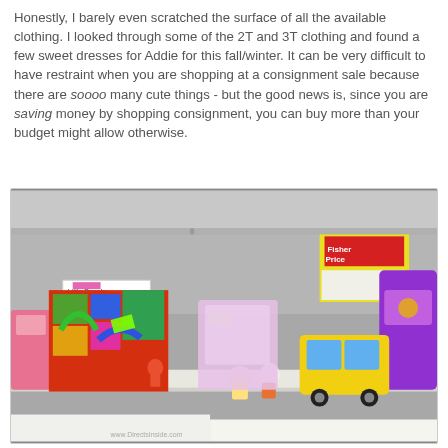Honestly, I barely even scratched the surface of all the available clothing. I looked through some of the 2T and 3T clothing and found a few sweet dresses for Addie for this fall/winter. It can be very difficult to have restraint when you are shopping at a consignment sale because there are soooo many cute things - but the good news is, since you are saving money by shopping consignment, you can buy more than your budget might allow otherwise.
[Figure (photo): A photo of a consignment sale table covered with colorful children's toys including Fisher-Price Little People sets, playsets, and various plastic toys. A sign reads 'Little People Accessories'.]